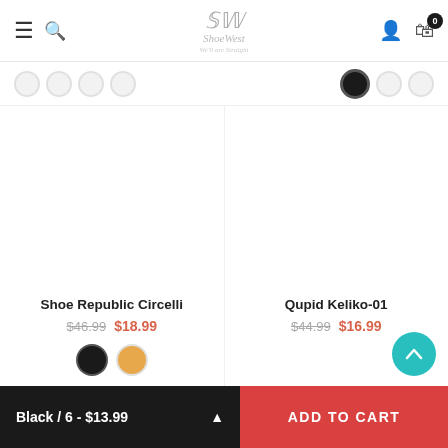ShoeWest — navigation header with menu, search, account, and cart (0 items)
[Figure (screenshot): Color swatch filter row with multiple circular swatches; one black swatch is selected on the right side]
Shoe Republic Circelli
$46.99  $18.99
[Figure (illustration): Two color swatches: black and gold/tan circles]
Qupid Keliko-01
$44.99  $16.99
Black / 6 - $13.99    ADD TO CART